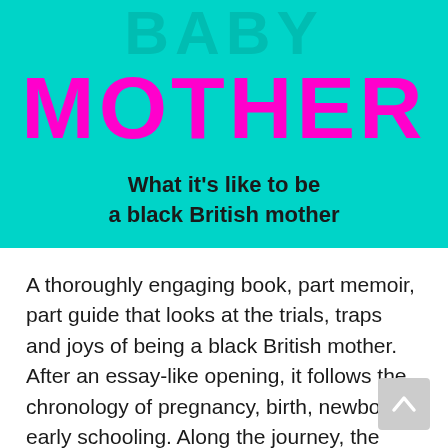[Figure (illustration): Book cover with teal/cyan background. Large text 'BABY' (partially visible, same teal color) at top, large magenta/pink bold text 'MOTHER' below, and subtitle 'What it’s like to be a black British mother' in bold dark text.]
A thoroughly engaging book, part memoir, part guide that looks at the trials, traps and joys of being a black British mother. After an essay-like opening, it follows the chronology of pregnancy, birth, newborn, early schooling. Along the journey, the book opens out engagingly about the tensions, and idiosyncrasies of the author’s close and wider family. The